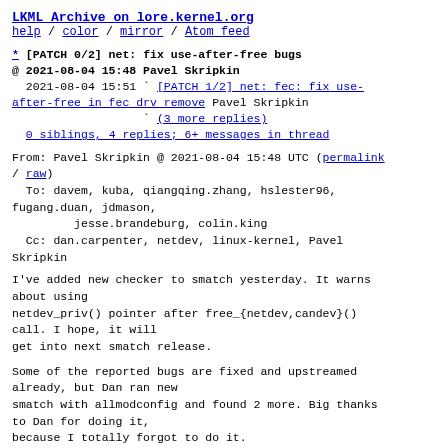LKML Archive on lore.kernel.org
help / color / mirror / Atom feed
* [PATCH 0/2] net: fix use-after-free bugs
@ 2021-08-04 15:48 Pavel Skripkin
  2021-08-04 15:51 ` [PATCH 1/2] net: fec: fix use-after-free in fec drv remove Pavel Skripkin
                   ` (3 more replies)
  0 siblings, 4 replies; 6+ messages in thread
From: Pavel Skripkin @ 2021-08-04 15:48 UTC (permalink / raw)
  To: davem, kuba, qiangqing.zhang, hslester96, fugang.duan, jdmason,
         jesse.brandeburg, colin.king
  Cc: dan.carpenter, netdev, linux-kernel, Pavel Skripkin
I've added new checker to smatch yesterday. It warns about using
netdev_priv() pointer after free_{netdev,candev}()
call. I hope, it will
get into next smatch release.
Some of the reported bugs are fixed and upstreamed already, but Dan ran new
smatch with allmodconfig and found 2 more. Big thanks to Dan for doing it,
because I totally forgot to do it.
Pavel Skripkin (2):